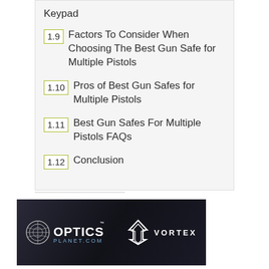Keypad
1.9 Factors To Consider When Choosing The Best Gun Safe for Multiple Pistols
1.10 Pros of Best Gun Safes for Multiple Pistols
1.11 Best Gun Safes For Multiple Pistols FAQs
1.12 Conclusion
[Figure (photo): OpticsPlanet.com advertisement banner with Vortex Optics logo, showing binoculars in the background]